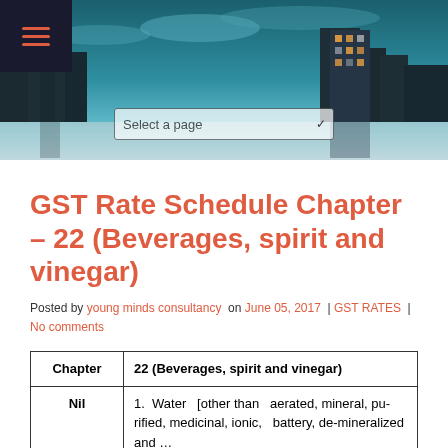[Figure (photo): City skyline banner with dark teal sky and buildings at dusk/night, with a hamburger menu icon in dark box top-left and a dropdown select box overlay.]
GST Rate Schedule Chapter - 22 (Beverages, spirit and vinegar)
Posted by young minds consultancy  on June 05, 2017  | GST RATES  | No comments
| Chapter | 22 (Beverages, spirit and vinegar) |
| --- | --- |
| Nil | 1. Water [other than aerated, mineral, purified, medicinal, ionic, battery, de-mineralized and ... |